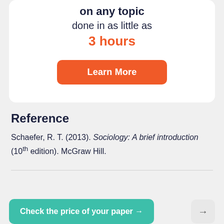on any topic
done in as little as
3 hours
Learn More
Reference
Schaefer, R. T. (2013). Sociology: A brief introduction (10th edition). McGraw Hill.
Check the price of your paper →